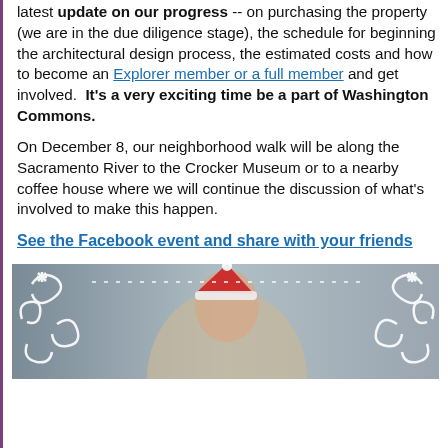latest update on our progress -- on purchasing the property (we are in the due diligence stage), the schedule for beginning the architectural design process, the estimated costs and how to become an Explorer member or a full member and get involved.  It's a very exciting time be a part of Washington Commons.
On December 8, our neighborhood walk will be along the Sacramento River to the Crocker Museum or to a nearby coffee house where we will continue the discussion of what's involved to make this happen.
See the Facebook event and share with your friends
[Figure (photo): Photo of a person wearing a Santa hat with decorative swirl design overlay]